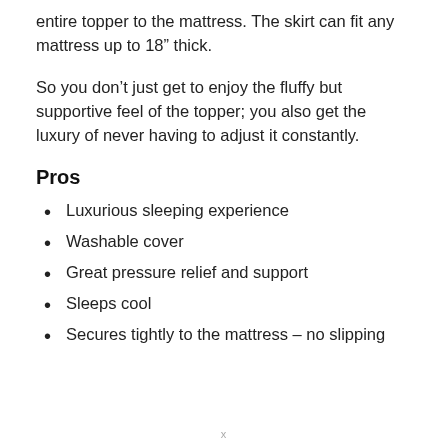entire topper to the mattress. The skirt can fit any mattress up to 18" thick.
So you don’t just get to enjoy the fluffy but supportive feel of the topper; you also get the luxury of never having to adjust it constantly.
Pros
Luxurious sleeping experience
Washable cover
Great pressure relief and support
Sleeps cool
Secures tightly to the mattress – no slipping
x